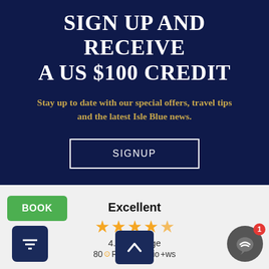SIGN UP AND RECEIVE A US $100 CREDIT
Stay up to date with our special offers, travel tips and the latest Isle Blue news.
SIGNUP
Excellent
4.87 average
800+ reviews
[Figure (logo): REVIEWS.io logo with star icon]
BOOK
[Figure (other): Filter funnel icon button]
[Figure (other): Chat/messenger button with badge showing 1]
[Figure (other): Scroll up arrow button]